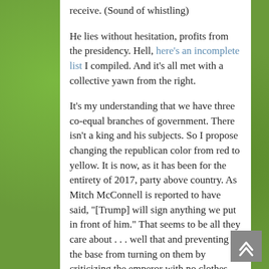receive. (Sound of whistling)
He lies without hesitation, profits from the presidency. Hell, here's an incomplete list I compiled. And it's all met with a collective yawn from the right.
It's my understanding that we have three co-equal branches of government. There isn't a king and his subjects. So I propose changing the republican color from red to yellow. It is now, as it has been for the entirety of 2017, party above country. As Mitch McConnell is reported to have said, "[Trump] will sign anything we put in front of him." That seems to be all they care about . . . well that and preventing the base from turning on them by criticizing the emperor with no clothes. Gone